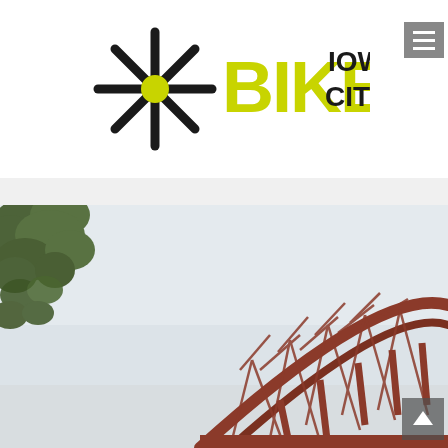[Figure (logo): Bike Iowa City logo: a black asterisk/sunburst with a lime-green center circle, followed by 'BIKE' in large lime-green bold letters and 'IOWA CITY' in black bold letters stacked to the right]
[Figure (photo): Outdoor photograph showing a red/rust-colored steel arch truss bridge with diagonal cables/rods, partially obscured by tree branches with green leaves in the upper left corner, under a light overcast sky]